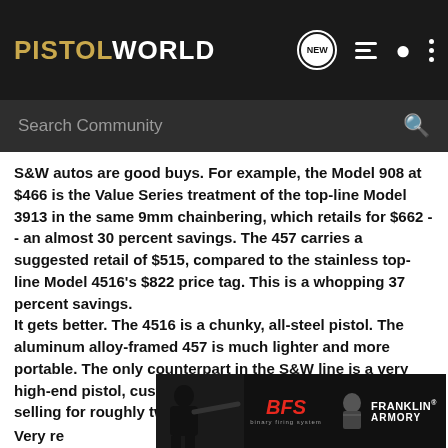PISTOLWORLD
S&W autos are good buys. For example, the Model 908 at $466 is the Value Series treatment of the top-line Model 3913 in the same 9mm chainbering, which retails for $662 -- an almost 30 percent savings. The 457 carries a suggested retail of $515, compared to the stainless top-line Model 4516's $822 price tag. This is a whopping 37 percent savings.
It gets better. The 4516 is a chunky, all-steel pistol. The aluminum alloy-framed 457 is much lighter and more portable. The only counterpart in the S&W line is a very high-end pistol, custom made for a certain distributor and selling for roughly twice the price of a 457.
[Figure (photo): Franklin Armory advertisement banner showing a person with a rifle on the left, BFS logo in center, and Franklin Armory logo with silhouette on the right]
Very re... bably